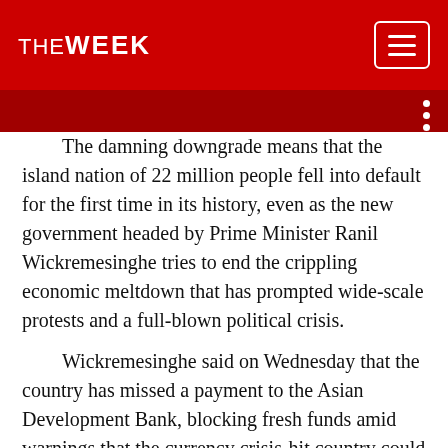THE WEEK
The damning downgrade means that the island nation of 22 million people fell into default for the first time in its history, even as the new government headed by Prime Minister Ranil Wickremesinghe tries to end the crippling economic meltdown that has prompted wide-scale protests and a full-blown political crisis.
Wickremesinghe said on Wednesday that the country has missed a payment to the Asian Development Bank, blocking fresh funds amid warnings that the currency crisis-hit country could be locked out of multilateral funding in a new blow.